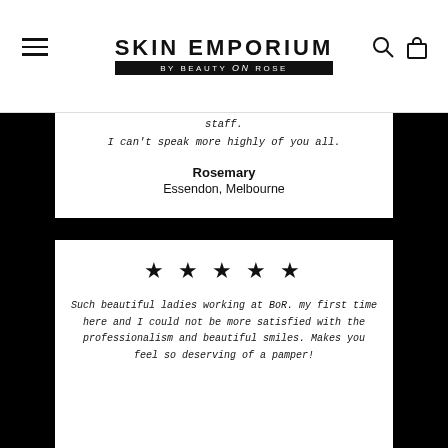SKIN EMPORIUM BY BEAUTY on ROSE
experience even more beautiful with the new renovation and expansion. Thank you so much for always taking the time to make me feel comfortable and relaxed and for always delivering the most exceptional of experiences with your beautiful staff. I can't speak more highly of you all.
Rosemary
Essendon, Melbourne
[Figure (other): Five black star rating icons]
Such beautiful ladies working at BoR. my first time here and I could not be more satisfied with the professionalism and beautiful smiles. Makes you feel so deserving of a pamper!